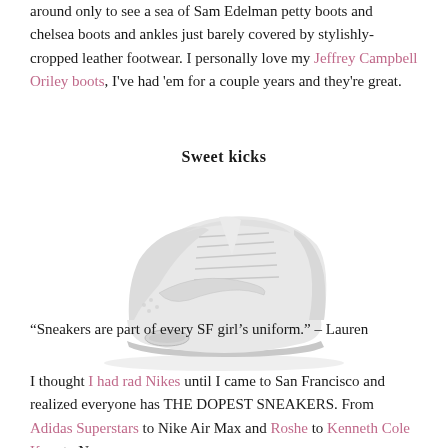around only to see a sea of Sam Edelman petty boots and chelsea boots and ankles just barely covered by stylishly-cropped leather footwear. I personally love my Jeffrey Campbell Oriley boots, I've had 'em for a couple years and they're great.
Sweet kicks
[Figure (photo): White/light grey Nike sneaker (Nike Air Max Thea style) photographed on a white background, viewed from the side at a slight angle.]
"Sneakers are part of every SF girl's uniform." – Lauren
I thought I had rad Nikes until I came to San Francisco and realized everyone has THE DOPEST SNEAKERS. From Adidas Superstars to Nike Air Max and Roshe to Kenneth Cole Kam to New